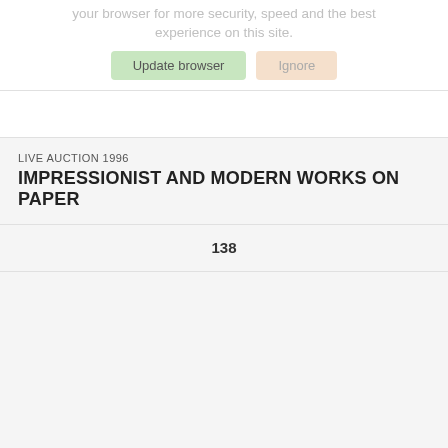your browser for more security, speed and the best experience on this site.
Update browser  Ignore
LIVE AUCTION 1996
IMPRESSIONIST AND MODERN WORKS ON PAPER
138